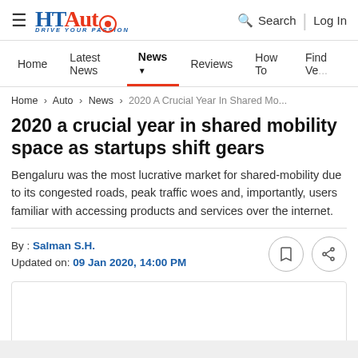HT Auto — Drive Your Passion | Search | Log In
Home | Latest News | News | Reviews | How To | Find Ve...
Home > Auto > News > 2020 A Crucial Year In Shared Mo...
2020 a crucial year in shared mobility space as startups shift gears
Bengaluru was the most lucrative market for shared-mobility due to its congested roads, peak traffic woes and, importantly, users familiar with accessing products and services over the internet.
By : Salman S.H.
Updated on: 09 Jan 2020, 14:00 PM
[Figure (other): Article image placeholder (empty white box with border)]